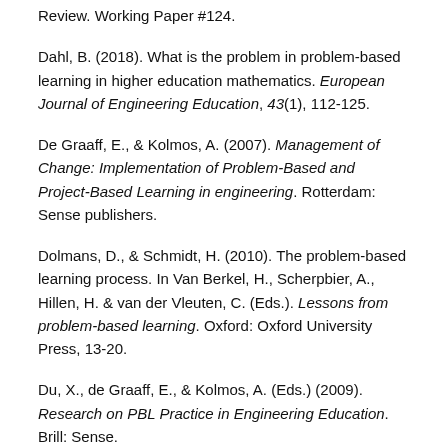Review. Working Paper #124.
Dahl, B. (2018). What is the problem in problem-based learning in higher education mathematics. European Journal of Engineering Education, 43(1), 112-125.
De Graaff, E., & Kolmos, A. (2007). Management of Change: Implementation of Problem-Based and Project-Based Learning in engineering. Rotterdam: Sense publishers.
Dolmans, D., & Schmidt, H. (2010). The problem-based learning process. In Van Berkel, H., Scherpbier, A., Hillen, H. & van der Vleuten, C. (Eds.). Lessons from problem-based learning. Oxford: Oxford University Press, 13-20.
Du, X., de Graaff, E., & Kolmos, A. (Eds.) (2009). Research on PBL Practice in Engineering Education. Brill: Sense.
Hadgraft, R. G., & Kolmos, A. (2020). Emerging learning environments in engineering education. Australasian Journal